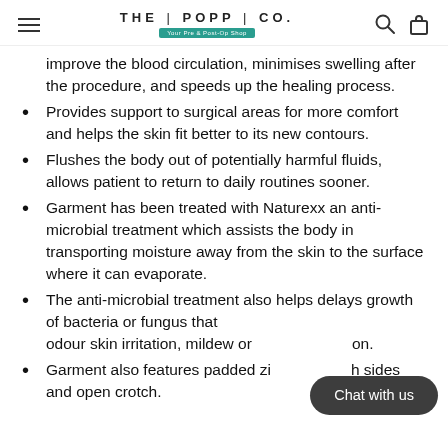THE | POPP | CO. — Your Pre & Post-Op Shop
improve the blood circulation, minimises swelling after the procedure, and speeds up the healing process.
Provides support to surgical areas for more comfort and helps the skin fit better to its new contours.
Flushes the body out of potentially harmful fluids, allows patient to return to daily routines sooner.
Garment has been treated with Naturexx an anti-microbial treatment which assists the body in transporting moisture away from the skin to the surface where it can evaporate.
The anti-microbial treatment also helps delays growth of bacteria or fungus that [Chat with us] odour skin irritation, mildew or [obscured] on.
Garment also features padded zi[p obscured] h sides and open crotch.